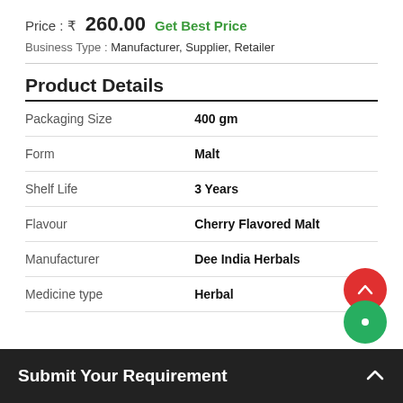Price : ₹ 260.00   Get Best Price
Business Type : Manufacturer, Supplier, Retailer
Product Details
| Property | Value |
| --- | --- |
| Packaging Size | 400 gm |
| Form | Malt |
| Shelf Life | 3 Years |
| Flavour | Cherry Flavored Malt |
| Manufacturer | Dee India Herbals |
| Medicine type | Herbal |
Submit Your Requirement